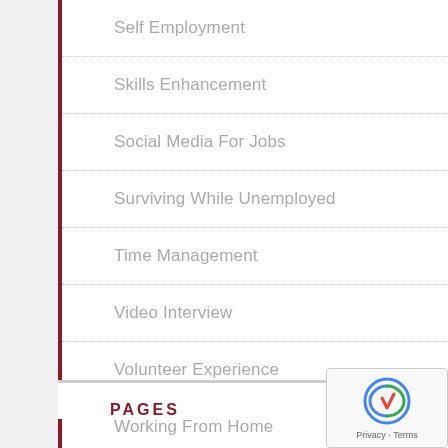Self Employment
Skills Enhancement
Social Media For Jobs
Surviving While Unemployed
Time Management
Video Interview
Volunteer Experience
Working From Home
PAGES